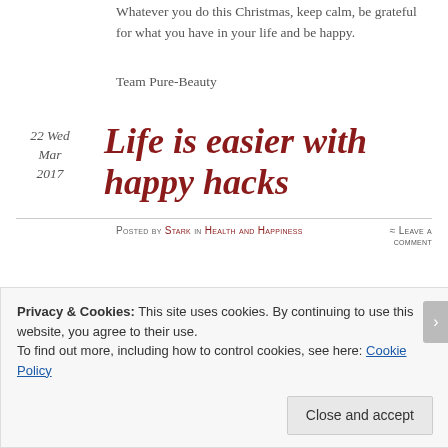Whatever you do this Christmas, keep calm, be grateful for what you have in your life and be happy.
Team Pure-Beauty
22 Wed Mar 2017
Life is easier with happy hacks
Posted by Stark in Health and Happiness
≈ Leave a comment
Privacy & Cookies: This site uses cookies. By continuing to use this website, you agree to their use.
To find out more, including how to control cookies, see here: Cookie Policy